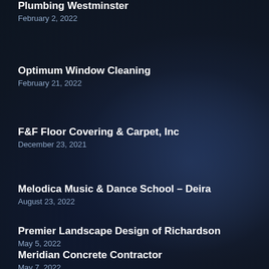Plumbing Westminster
February 2, 2022
Optimum Window Cleaning
February 21, 2022
F&F Floor Covering & Carpet, Inc
December 23, 2021
Melodica Music & Dance School – Deira
August 23, 2022
Premier Landscape Design of Richardson
May 5, 2022
Meridian Concrete Contractor
May 7, 2022